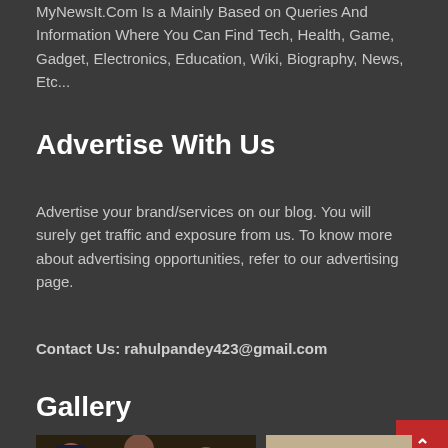MyNewsIt.Com Is a Mainly Based on Queries And Information Where You Can Find Tech, Health, Game, Gadget, Electronics, Education, Wiki, Biography, News, Etc...
Advertise With Us
Advertise your brand/services on our blog. You will surely get traffic and exposure from us. To know more about advertising opportunities, refer to our advertising page.
Contact Us: rahulpandey423@gmail.com
Gallery
[Figure (photo): Group of muscular men in a gym, one wearing a blue tank top with 'GYM' text]
[Figure (photo): A woman in a black hijab with a young child]